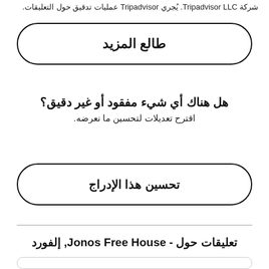شركة Tripadvisor LLC. يُجري Tripadvisor عمليات تدقيق حول التعليقات.
طالع المزيد
هل هناك أي شيء مفقود أو غير دقيق؟
اقترح تعديلات لتحسين ما نعرضه.
تحسين هذا الإدراج
تعليقات حول - Jonos Free House, إلفورد